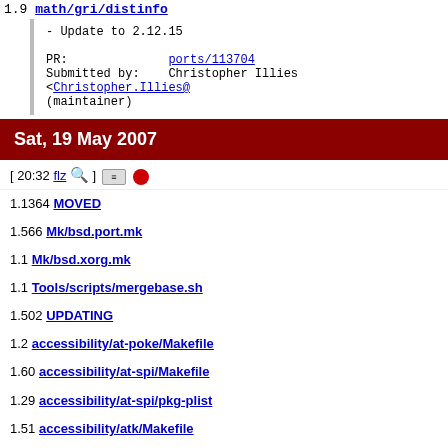1.9 math/gri/distinfo
- Update to 2.12.15

PR:              ports/113704
Submitted by:    Christopher Illies <Christopher.Illies@...
(maintainer)
Sat, 19 May 2007
[ 20:32 flz 🔍 ] [keyboard icon] [red dot]
1.1364 MOVED
1.566 Mk/bsd.port.mk
1.1 Mk/bsd.xorg.mk
1.1 Tools/scripts/mergebase.sh
1.502 UPDATING
1.2 accessibility/at-poke/Makefile
1.60 accessibility/at-spi/Makefile
1.29 accessibility/at-spi/pkg-plist
1.51 accessibility/atk/Makefile
1.27 accessibility/atk/pkg-plist
(Only the first 10 of 7868 ports in this commit are shown above. ▶)
- Welcome X.org 7.2 \o/.
- Set X11BASE to ${LOCALBASE} for recent ${OSVERSION}.
- Bump PORTREVISION for ports intalling files in ${X11B